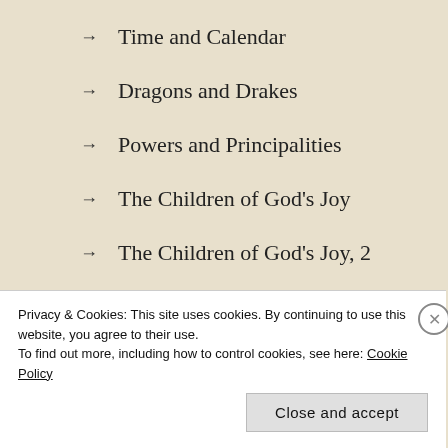→ Time and Calendar
→ Dragons and Drakes
→ Powers and Principalities
→ The Children of God's Joy
→ The Children of God's Joy, 2
→ The Night Sky
→ Tuta Hua Zamin
Privacy & Cookies: This site uses cookies. By continuing to use this website, you agree to their use.
To find out more, including how to control cookies, see here: Cookie Policy
Close and accept